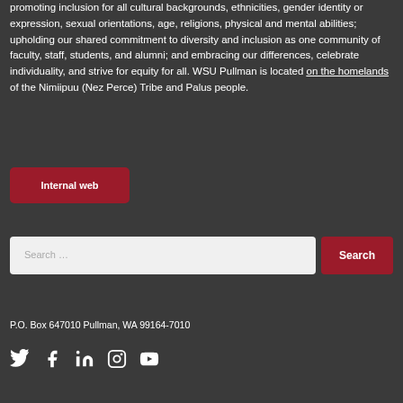promoting inclusion for all cultural backgrounds, ethnicities, gender identity or expression, sexual orientations, age, religions, physical and mental abilities; upholding our shared commitment to diversity and inclusion as one community of faculty, staff, students, and alumni; and embracing our differences, celebrate individuality, and strive for equity for all. WSU Pullman is located on the homelands of the Nimiipuu (Nez Perce) Tribe and Palus people.
Internal web
Search ...
Search
P.O. Box 647010 Pullman, WA 99164-7010
[Figure (other): Social media icons: Twitter, Facebook, LinkedIn, Instagram, YouTube]